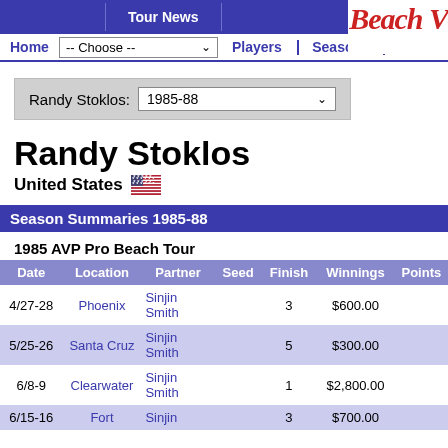Beach V [logo/header nav] — Tour News | Home | -- Choose -- | Players | Seasons
Randy Stoklos: 1985-88 [dropdown]
Randy Stoklos
United States 🇺🇸
Season Summaries 1985-88
1985 AVP Pro Beach Tour
| Date | Location | Partner | Seed | Finish | Winnings | Points |
| --- | --- | --- | --- | --- | --- | --- |
| 4/27-28 | Phoenix | Sinjin Smith |  | 3 | $600.00 |  |
| 5/25-26 | Santa Cruz | Sinjin Smith |  | 5 | $300.00 |  |
| 6/8-9 | Clearwater | Sinjin Smith |  | 1 | $2,800.00 |  |
| 6/15-16 | Fort ... | Sinjin ... |  | 3 | $700.00 |  |